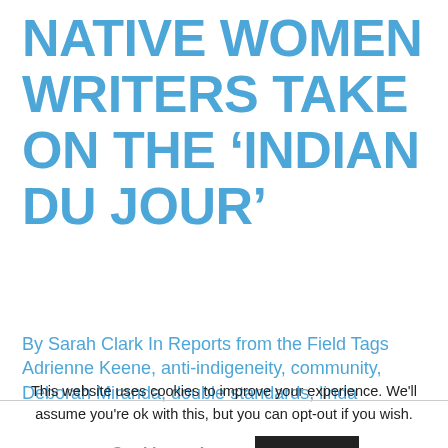NATIVE WOMEN WRITERS TAKE ON THE ‘INDIAN DU JOUR’
By Sarah Clark In Reports from the Field Tags Adrienne Keene, anti-indigeneity, community, Deborah Miranda, double standards, linda rodriguez, Native literature, patriarchy, racism, settlerism, sexism, stereotypes, tokenism
This website uses cookies to improve your experience. We'll assume you're ok with this, but you can opt-out if you wish.
Cookie settings  ACCEPT